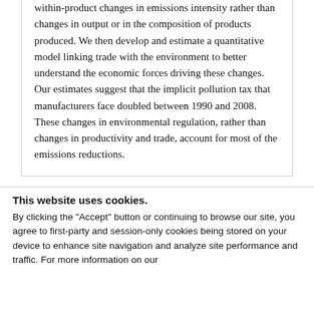within-product changes in emissions intensity rather than changes in output or in the composition of products produced. We then develop and estimate a quantitative model linking trade with the environment to better understand the economic forces driving these changes. Our estimates suggest that the implicit pollution tax that manufacturers face doubled between 1990 and 2008. These changes in environmental regulation, rather than changes in productivity and trade, account for most of the emissions reductions.
This website uses cookies.
By clicking the "Accept" button or continuing to browse our site, you agree to first-party and session-only cookies being stored on your device to enhance site navigation and analyze site performance and traffic. For more information on our